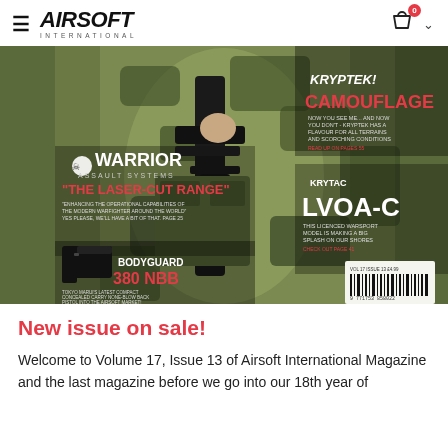AIRSOFT INTERNATIONAL
[Figure (photo): Magazine cover of Airsoft International Volume 17 Issue 13. Shows a person in camouflage gear holding an airsoft rifle. Text overlays include: KRYPTEK! CAMOUFLAGE, WARRIOR ASSAULT SYSTEMS THE LASER-CUT RANGE, KRYTAC LVOA-C, BODYGUARD 380 NBB. Barcode visible bottom right.]
New issue on sale!
Welcome to Volume 17, Issue 13 of Airsoft International Magazine and the last magazine before we go into our 18th year of